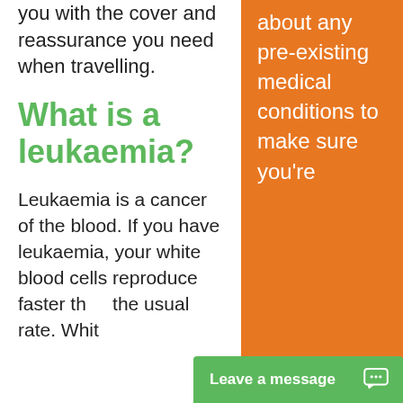Alltclear can provide you with the cover and reassurance you need when travelling.
What is a leukaemia?
Leukaemia is a cancer of the blood. If you have leukaemia, your white blood cells reproduce faster than the usual rate. Whit
about any pre-existing medical conditions to make sure you're
Leave a message